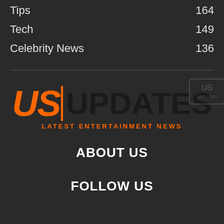Tips 164
Tech 149
Celebrity News 136
[Figure (logo): US Updates logo with orange US text, vertical orange pipe, black UPDATES text, and orange tagline 'LATEST ENTERTAINMENT NEWS']
ABOUT US
FOLLOW US